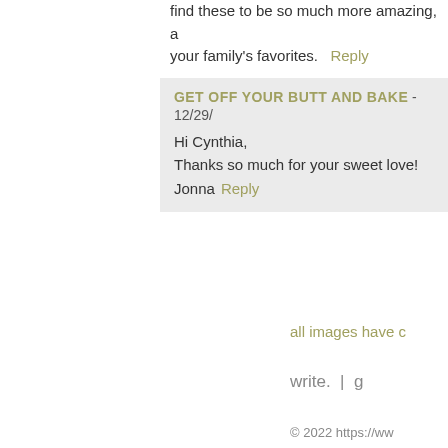find these to be so much more amazing, and your family's favorites.   Reply
GET OFF YOUR BUTT AND BAKE  -  12/29/
Hi Cynthia,
Thanks so much for your sweet love!
Jonna   Reply
all images have c
write.  |  g
© 2022 https://ww